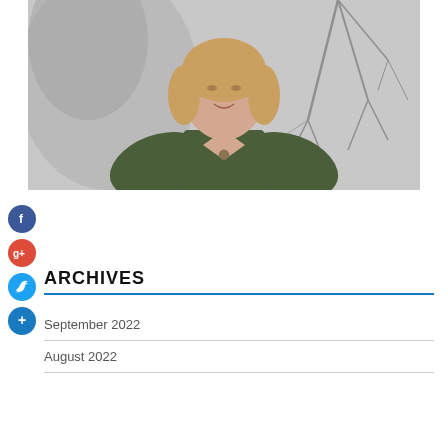[Figure (photo): Portrait photo of a woman with shoulder-length blond hair wearing a dark olive/green top with a pendant necklace, standing against a grey abstract background with branch shadows.]
[Figure (infographic): Social media icon buttons: Facebook (blue circle with f), Google+ (red circle with g+), Twitter (blue circle with bird), Add/Plus (blue circle with +)]
ARCHIVES
September 2022
August 2022